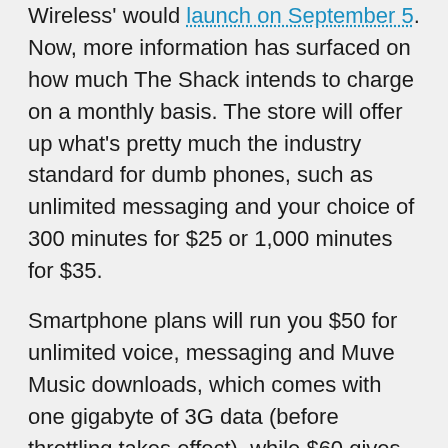Wireless' would launch on September 5. Now, more information has surfaced on how much The Shack intends to charge on a monthly basis. The store will offer up what's pretty much the industry standard for dumb phones, such as unlimited messaging and your choice of 300 minutes for $25 or 1,000 minutes for $35.
Smartphone plans will run you $50 for unlimited voice, messaging and Muve Music downloads, which comes with one gigabyte of 3G data (before throttling takes effect), while $60 gives you 2.5GB data and mobile hotspot use, Visual Voicemail access, unlimited international text and all-you-can-eat directory assistance. It's no surprise that these price plans are almost identical to those of Cricket, but with the exception of a couple of things.
The only difference between the two is that Cricket